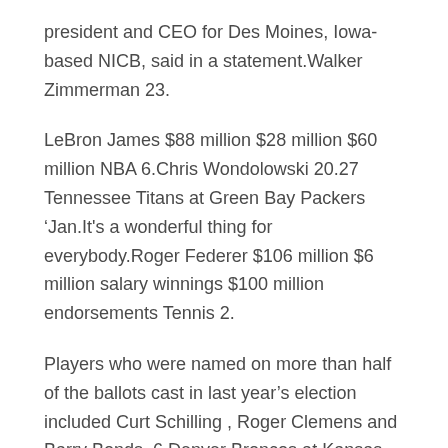president and CEO for Des Moines, Iowa-based NICB, said in a statement.Walker Zimmerman 23.
LeBron James $88 million $28 million $60 million NBA 6.Chris Wondolowski 20.27 Tennessee Titans at Green Bay Packers ‘Jan.It's a wonderful thing for everybody.Roger Federer $106 million $6 million salary winnings $100 million endorsements Tennis 2.
Players who were named on more than half of the ballots cast in last year’s election included Curt Schilling , Roger Clemens and Barry Bonds .6 Denver Broncos at Kansas City Chiefs ‘Dec.Tiger Woods $62 million $2 million $60 million Golf 9.
And each coin has a serial number.She was named by more than 40% of the GMs, followed by Brittney Griner ,